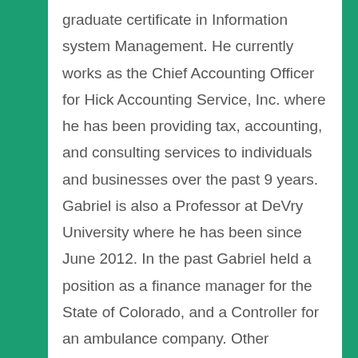graduate certificate in Information system Management. He currently works as the Chief Accounting Officer for Hick Accounting Service, Inc. where he has been providing tax, accounting, and consulting services to individuals and businesses over the past 9 years. Gabriel is also a Professor at DeVry University where he has been since June 2012. In the past Gabriel held a position as a finance manager for the State of Colorado, and a Controller for an ambulance company. Other interests and hobbies of his includes football, and most of all spending time with